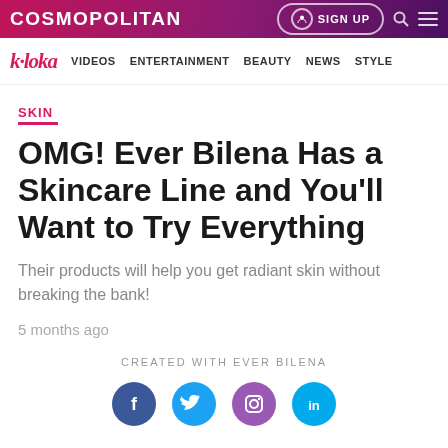COSMOPOLITAN  SIGN UP
k·loka  VIDEOS  ENTERTAINMENT  BEAUTY  NEWS  STYLE
SKIN
OMG! Ever Bilena Has a Skincare Line and You'll Want to Try Everything
Their products will help you get radiant skin without breaking the bank!
5 months ago
CREATED WITH EVER BILENA